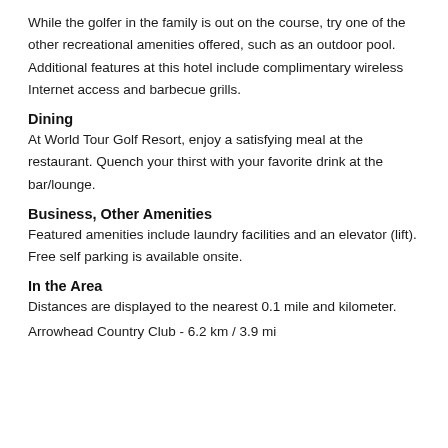While the golfer in the family is out on the course, try one of the other recreational amenities offered, such as an outdoor pool. Additional features at this hotel include complimentary wireless Internet access and barbecue grills.
Dining
At World Tour Golf Resort, enjoy a satisfying meal at the restaurant. Quench your thirst with your favorite drink at the bar/lounge.
Business, Other Amenities
Featured amenities include laundry facilities and an elevator (lift). Free self parking is available onsite.
In the Area
Distances are displayed to the nearest 0.1 mile and kilometer.
Arrowhead Country Club - 6.2 km / 3.9 mi